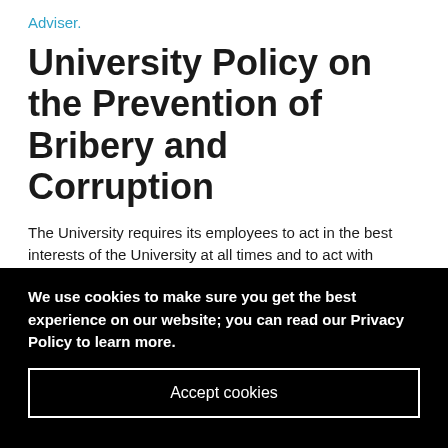Adviser.
University Policy on the Prevention of Bribery and Corruption
The University requires its employees to act in the best interests of the University at all times and to act with
We use cookies to make sure you get the best experience on our website; you can read our Privacy Policy to learn more.
Accept cookies